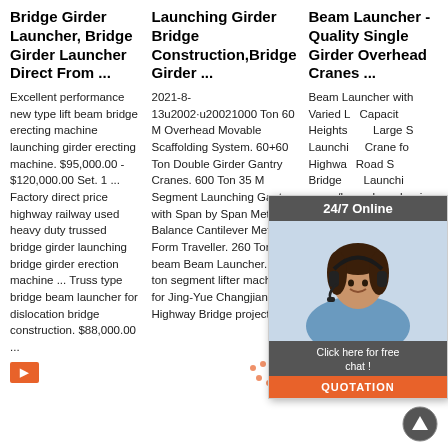Bridge Girder Launcher, Bridge Girder Launcher Direct From ...
Excellent performance new type lift beam bridge erecting machine launching girder erecting machine. $95,000.00 - $120,000.00 Set. 1 ... Factory direct price highway railway used heavy duty trussed bridge girder launching bridge girder erection machine ... Truss type bridge beam launcher for dislocation bridge construction. $88,000.00 ...
Launching Girder Bridge Construction,Bridge Girder ...
2021-8-13u2002·u20021000 Ton 60 M Overhead Movable Scaffolding System. 60+60 Ton Double Girder Gantry Cranes. 600 Ton 35 M Segment Launching Gantry with Span by Span Method. Balance Cantilever Method Form Traveller. 260 Tons U beam Beam Launcher. 300 ton segment lifter machine for Jing-Yue Changjiang Highway Bridge project.
Beam Launcher - Quality Single Girder Overhead Cranes ...
Beam Launcher with Varied Lifting Capacity and Heights Suit Large Scale Launching Crane for Highway Road Steel Bridge construction. Launching crane/beam launcher is an important machinery for building high rise constructions, ... Read More Get Best Price. 2018-04-11:50:04.
[Figure (photo): 24/7 online chat widget with woman wearing headset, dark header '24/7 Online', 'Click here for free chat!' text, and orange QUOTATION button]